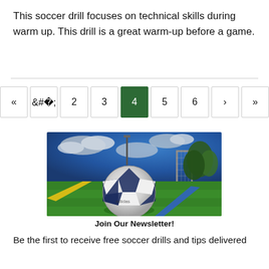This soccer drill focuses on technical skills during warm up. This drill is a great warm-up before a game.
[Figure (other): Pagination control showing page buttons: «, <, 2, 3, 4 (active/current, highlighted green), 5, 6, >, »]
[Figure (photo): Photo of an Adidas soccer ball (Champions League Finale ball) on a green artificial turf field with yellow and blue lines, and a soccer goal net visible in the background under a dramatic cloudy blue sky.]
Join Our Newsletter!
Be the first to receive free soccer drills and tips delivered